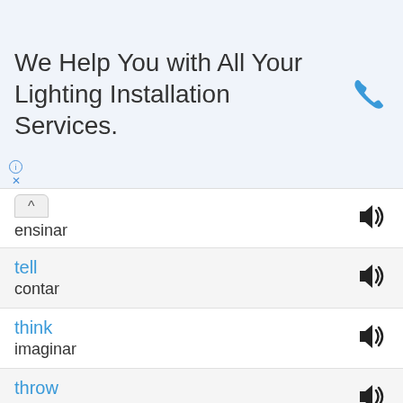[Figure (infographic): Advertisement banner: 'We Help You with All Your Lighting Installation Services.' with a blue phone icon]
ensinar
tell
contar
think
imaginar
throw
jogar/arremessar
tie
amarrar
touch